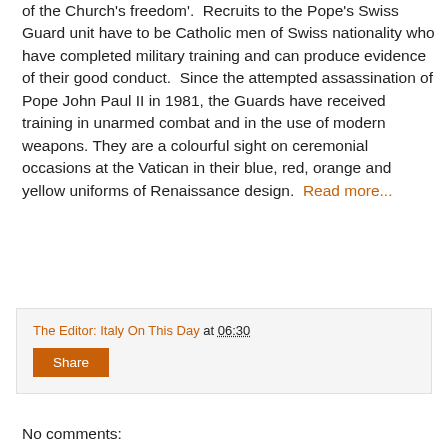of the Church's freedom'.  Recruits to the Pope's Swiss Guard unit have to be Catholic men of Swiss nationality who have completed military training and can produce evidence of their good conduct.  Since the attempted assassination of Pope John Paul II in 1981, the Guards have received training in unarmed combat and in the use of modern weapons. They are a colourful sight on ceremonial occasions at the Vatican in their blue, red, orange and yellow uniforms of Renaissance design.  Read more...
Home
The Editor: Italy On This Day at 06:30
Share
No comments: